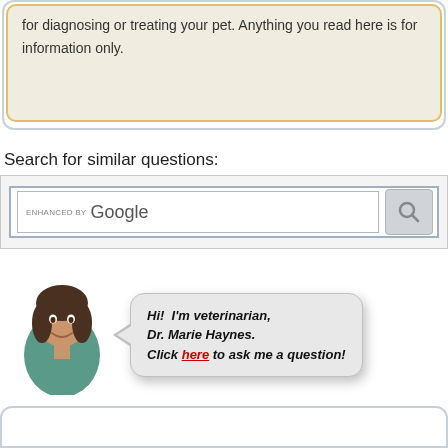for diagnosing or treating your pet. Anything you read here is for information only.
Search for similar questions:
[Figure (screenshot): Google search bar with 'ENHANCED BY Google' text and a search/magnifying glass button]
[Figure (illustration): A veterinarian Dr. Marie Haynes with a speech bubble saying: Hi! I'm veterinarian, Dr. Marie Haynes. Click here to ask me a question!]